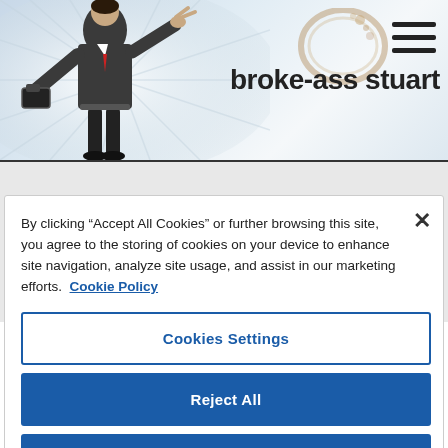[Figure (screenshot): Broke-Ass Stuart website header with a man figure, site logo text, coffee stain graphic, and hamburger menu icon]
By clicking “Accept All Cookies” or further browsing this site, you agree to the storing of cookies on your device to enhance site navigation, analyze site usage, and assist in our marketing efforts. Cookie Policy
Cookies Settings
Reject All
Accept All Cookies